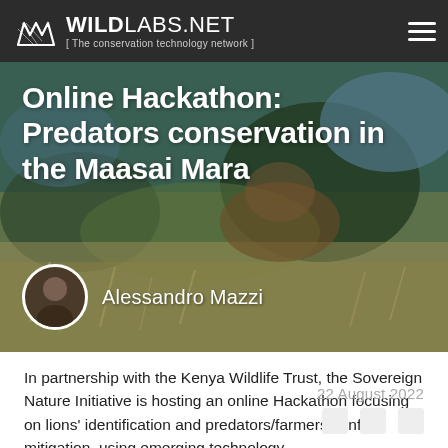WILDLABS.NET [ The conservation technology network ]
[Figure (photo): Hero image of a lion or predator partially hidden in dry grass and foliage, with text overlay showing the article title and author name 'Alessandro Mazzi' with a circular author avatar photo.]
Online Hackathon: Predators conservation in the Maasai Mara
In partnership with the Kenya Wildlife Trust, the Sovereign Nature Initiative is hosting an online Hackathon focusing on lions' identification and predators/farmers conflict mitigation, using emerging technology.
22 August 2022